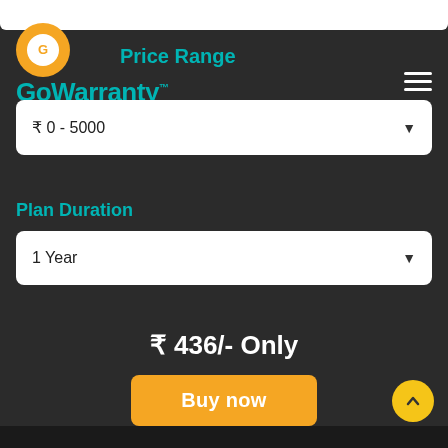[Figure (logo): GoWarranty logo with orange circle and teal brand text]
Price Range
₹ 0 - 5000
Plan Duration
1 Year
₹ 436/- Only
Buy now
The plan only covers Projectors purchased on or after 05-Dec-2021